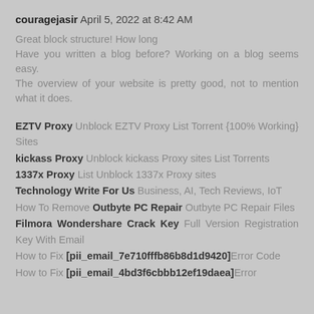couragejasir April 5, 2022 at 8:42 AM
Great block structure! How long Have you written a blog before? Working on a blog seems easy. The overview of your website is pretty good, not to mention what it does.
EZTV Proxy Unblock EZTV Proxy List Torrent {100% Working} Sites
kickass Proxy Unblock kickass Proxy sites List Torrents
1337x Proxy List Unblock 1337x Proxy sites
Technology Write For Us Business, AI, Tech Reviews, IoT
How To Remove Outbyte PC Repair Outbyte PC Repair Files
Filmora Wondershare Crack Key Full Version Registration Key With Email
How to Fix [pii_email_7e710fffb86b8d1d9420] Error Code
How to Fix [pii_email_4bd3f6cbbb12ef19daea] Error Code